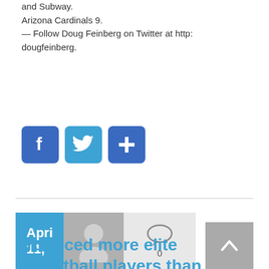and Subway.
Arizona Cardinals 9.
— Follow Doug Feinberg on Twitter at http: dougfeinberg.
[Figure (infographic): Three social media icon buttons: Facebook (blue with f), Twitter (blue with bird), and Add/Share (blue with plus sign)]
[Figure (infographic): Article metadata row: date box showing 'Apri 11,' in blue, avatar placeholder in grey, comment icon with 0 count, and scroll-to-top button in grey with chevron up]
Produced more elite basketball players than anywhere else in certain